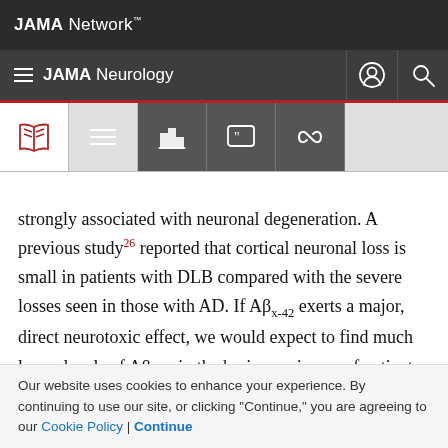JAMA Network
JAMA Neurology
strongly associated with neuronal degeneration. A previous study^26 reported that cortical neuronal loss is small in patients with DLB compared with the severe losses seen in those with AD. If Aβx-42 exerts a major, direct neurotoxic effect, we would expect to find much lower levels of Aβx-42 in the brain specimens of patients with DLB. Our immunohistochemical data from patients with DLB suggest that neuronal degeneration may occur
Our website uses cookies to enhance your experience. By continuing to use our site, or clicking "Continue," you are agreeing to our Cookie Policy | Continue